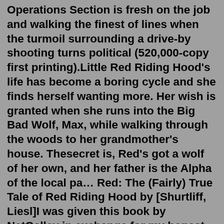Operations Section is fresh on the job and walking the finest of lines when the turmoil surrounding a drive-by shooting turns political (520,000-copy first printing).Little Red Riding Hood's life has become a boring cycle and she finds herself wanting more. Her wish is granted when she runs into the Big Bad Wolf, Max, while walking through the woods to her grandmother's house. Thesecret is, Red's got a wolf of her own, and her father is the Alpha of the local pa…Red: The (Fairly) True Tale of Red Riding Hood by [Shurtliff, Liesl]I was given this book by NetGalley in exchange for my honest review. Different versions of fairy tales intrigue me. This one has Red being fearless, unless there is magic involved. Now she has to turn to it to try to help her granny, who is ill. She asks Goldie to help her.Red Book 2021 Report of the Committee on Infectious Diseases. The definitive source for pediatric infectious disease solutions providing point-of-care access to diagnosis and treatment. Summary of Major Changes in the 2021 Red Book: Expanding the 2021 Red Book's Coverage...